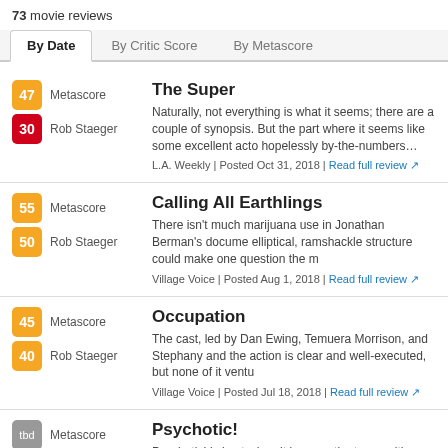73 movie reviews
By Date | By Critic Score | By Metascore
The Super
Naturally, not everything is what it seems; there are a couple of synopsis. But the part where it seems like some excellent acto hopelessly by-the-numbers horror movie? That's totally on th
L.A. Weekly | Posted Oct 31, 2018 | Read full review
Calling All Earthlings
There isn't much marijuana use in Jonathan Berman's docume elliptical, ramshackle structure could make one question the m
Village Voice | Posted Aug 1, 2018 | Read full review
Occupation
The cast, led by Dan Ewing, Temuera Morrison, and Stephany and the action is clear and well-executed, but none of it ventu
Village Voice | Posted Jul 18, 2018 | Read full review
Psychotic!
Psychotic! is best when it leavens the terror with comedy, slip tropes.